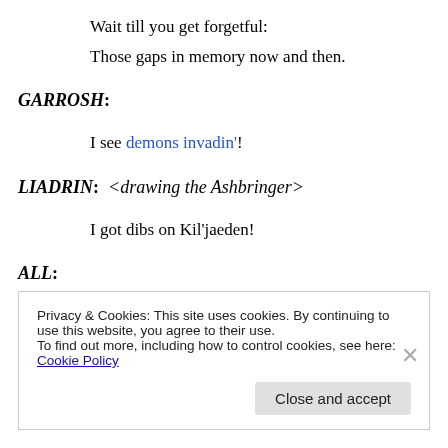Wait till you get forgetful:
Those gaps in memory now and then.
GARROSH:
I see demons invadin'!
LIADRIN:  <drawing the Ashbringer>
I got dibs on Kil'jaeden!
ALL:
Privacy & Cookies: This site uses cookies. By continuing to use this website, you agree to their use.
To find out more, including how to control cookies, see here: Cookie Policy